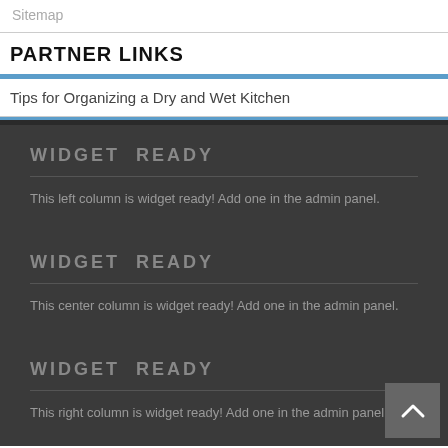Sitemap
PARTNER LINKS
Tips for Organizing a Dry and Wet Kitchen
WIDGET READY
This left column is widget ready! Add one in the admin panel.
WIDGET READY
This center column is widget ready! Add one in the admin panel.
WIDGET READY
This right column is widget ready! Add one in the admin panel.